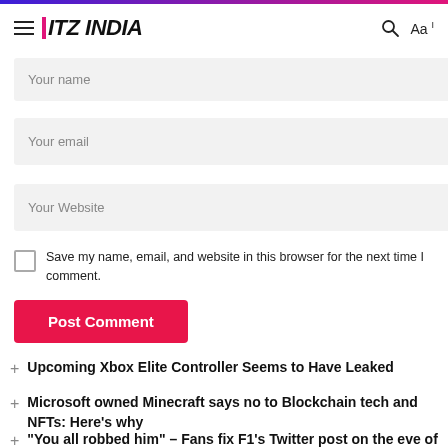ITZ INDIA
Your name
Your email
Your Website
Save my name, email, and website in this browser for the next time I comment.
Post Comment
Upcoming Xbox Elite Controller Seems to Have Leaked
Microsoft owned Minecraft says no to Blockchain tech and NFTs: Here's why
"You all robbed him" – Fans fix F1's Twitter post on the eve of Lewis Hamilton's 300th GP, claiming he should've been